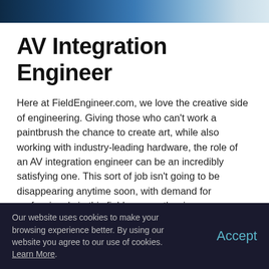[Figure (photo): Partial banner image of keyboard/technology in blue tones at top of page]
AV Integration Engineer
Here at FieldEngineer.com, we love the creative side of engineering. Giving those who can't work a paintbrush the chance to create art, while also working with industry-leading hardware, the role of an AV integration engineer can be an incredibly satisfying one. This sort of job isn't going to be disappearing anytime soon, with demand for professionals in this field ever on the rise.
Our website uses cookies to make your browsing experience better. By using our website you agree to our use of cookies. Learn More. Accept